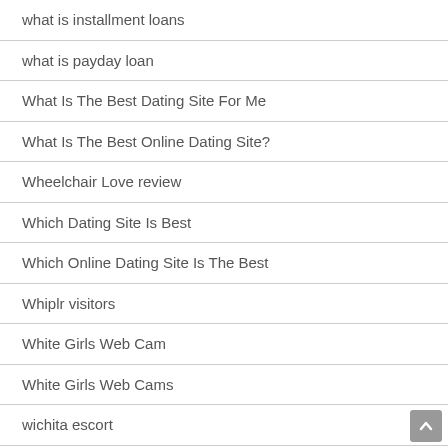what is installment loans
what is payday loan
What Is The Best Dating Site For Me
What Is The Best Online Dating Site?
Wheelchair Love review
Which Dating Site Is Best
Which Online Dating Site Is The Best
Whiplr visitors
White Girls Web Cam
White Girls Web Cams
wichita escort
WildBuddies review
willow review